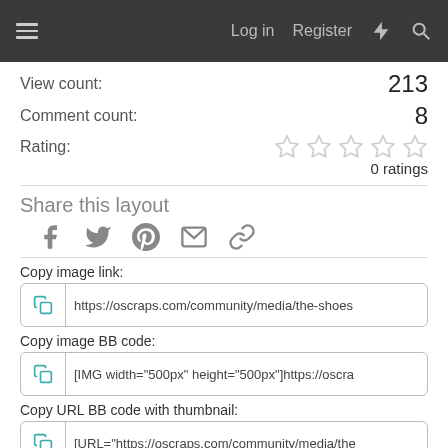Log in  Register
View count: 213
Comment count: 8
Rating: 0 ratings
Share this layout
[Figure (infographic): Social share icons: Facebook, Twitter, Pinterest, Email, Link]
Copy image link:
https://oscraps.com/community/media/the-shoes
Copy image BB code:
[IMG width="500px" height="500px"]https://oscra
Copy URL BB code with thumbnail:
[URL="https://oscraps.com/community/media/the